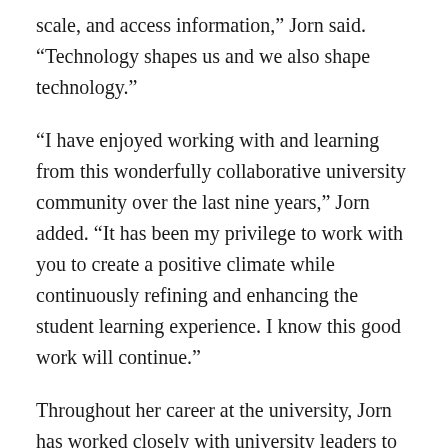scale, and access information,” Jorn said. “Technology shapes us and we also shape technology.”
“I have enjoyed working with and learning from this wonderfully collaborative university community over the last nine years,” Jorn added. “It has been my privilege to work with you to create a positive climate while continuously refining and enhancing the student learning experience. I know this good work will continue.”
Throughout her career at the university, Jorn has worked closely with university leaders to set priorities around educational innovation, and with DoIT team members to continuously assess services that support the wise use of technology to improve learner success